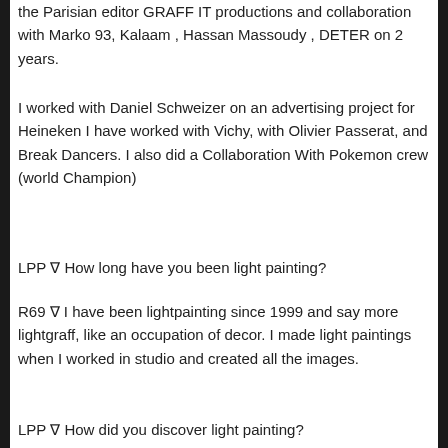the Parisian editor GRAFF IT productions and collaboration with Marko 93, Kalaam , Hassan Massoudy , DETER on 2 years.
I worked with Daniel Schweizer on an advertising project for Heineken I have worked with Vichy, with Olivier Passerat, and Break Dancers. I also did a Collaboration With Pokemon crew (world Champion)
LPP ∇ How long have you been light painting?
R69 ∇ I have been lightpainting since 1999 and say more lightgraff, like an occupation of decor. I made light paintings when I worked in studio and created all the images.
LPP ∇ How did you discover light painting?